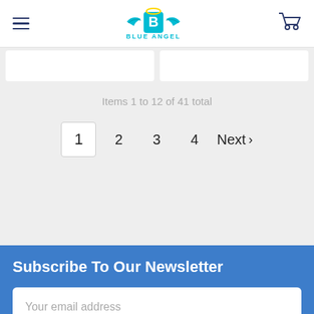Blue Angel — navigation header with hamburger menu, logo, and cart icon
Items 1 to 12 of 41 total
1  2  3  4  Next >
Subscribe To Our Newsletter
Your email address
SUBSCRIBE